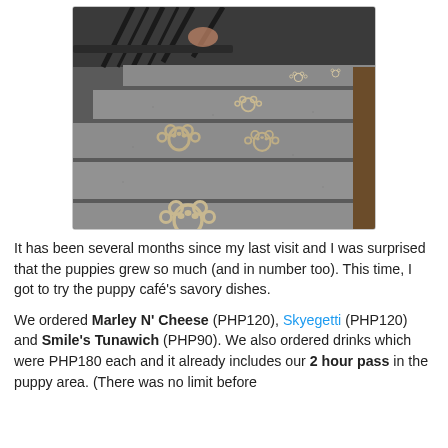[Figure (photo): Photograph of gray carpeted stairs with decorative paw print designs on each step, viewed from above. Black metal railing visible on the left side.]
It has been several months since my last visit and I was surprised that the puppies grew so much (and in number too). This time, I got to try the puppy café's savory dishes.
We ordered Marley N' Cheese (PHP120), Skyegetti (PHP120) and Smile's Tunawich (PHP90). We also ordered drinks which were PHP180 each and it already includes our 2 hour pass in the puppy area. (There was no limit before